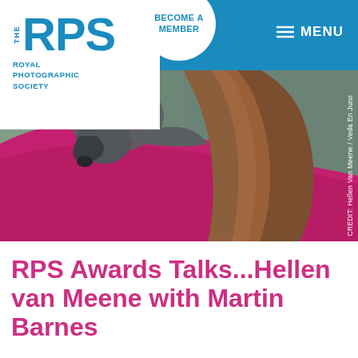THE RPS ROYAL PHOTOGRAPHIC SOCIETY
BECOME A MEMBER
MENU
[Figure (photo): A woman with long auburn/brown hair seen from behind/side, wearing a pink/magenta top, with a grey Italian Greyhound dog resting its head over her shoulder. Background is muted green/grey.]
CREDIT: Hellen Van Meene / Veda En Juno
RPS Awards Talks...Hellen van Meene with Martin Barnes